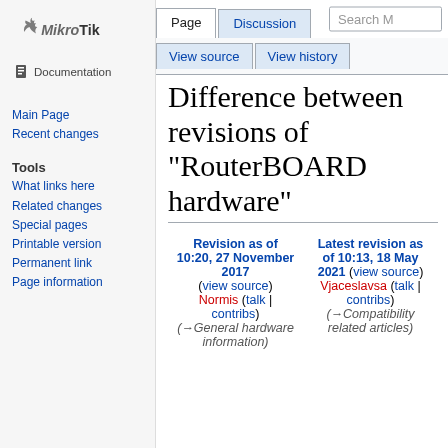[Figure (logo): MikroTik logo with Documentation label]
Main Page
Recent changes
Tools
What links here
Related changes
Special pages
Printable version
Permanent link
Page information
Page | Discussion | View source | View history | Search M
Difference between revisions of "RouterBOARD hardware"
| Revision as of 10:20, 27 November 2017 | Latest revision as of 10:13, 18 May 2021 |
| --- | --- |
| (view source) | (view source) |
| Normis (talk | contribs) | Vjaceslavsa (talk | contribs) |
| (→General hardware information) | (→Compatibility related articles) |